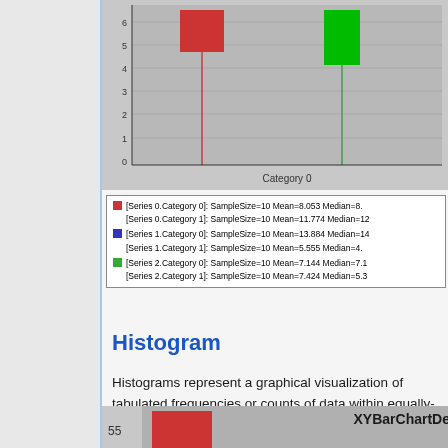[Figure (other): Partial box-and-whisker / candle chart showing colored bars (red, green) with whiskers on a gray background, x-axis label 'Category 0', y-axis range 0-6+]
[Series 0.Category 0]: SampleSize=10 Mean=8.053 Median=8. [Series 0.Category 1]: SampleSize=10 Mean=11.774 Median=12 [Series 1.Category 0]: SampleSize=10 Mean=13.884 Median=14 [Series 1.Category 1]: SampleSize=10 Mean=5.555 Median=4. [Series 2.Category 0]: SampleSize=10 Mean=7.144 Median=7.1 [Series 2.Category 1]: SampleSize=10 Mean=7.424 Median=5.3
Histogram
Histograms represent a graphical visualization of tabulated frequencies or counts of data within equally-spaced partitions of the data range. It shows the proportion of measurements that fall into each of the categories defined by the partition of the data range space.
[Figure (other): Partial bottom chart labeled XYBarChartDe with page number 55, showing partial red bar]
55